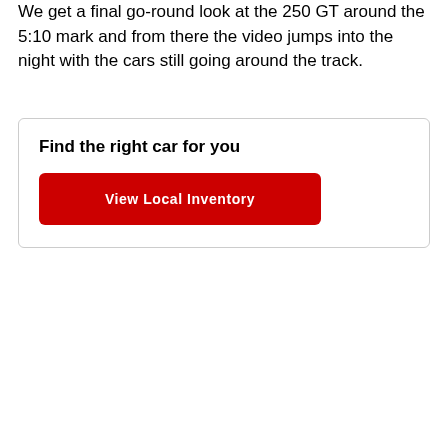We get a final go-round look at the 250 GT around the 5:10 mark and from there the video jumps into the night with the cars still going around the track.
Find the right car for you
View Local Inventory